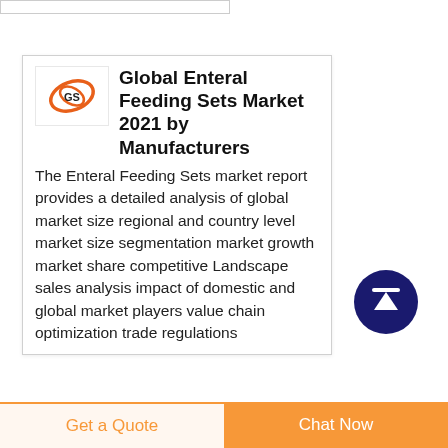[Figure (logo): Small logo/icon with orange swirling design and 'GS' text on white background]
Global Enteral Feeding Sets Market 2021 by Manufacturers
The Enteral Feeding Sets market report provides a detailed analysis of global market size regional and country level market size segmentation market growth market share competitive Landscape sales analysis impact of domestic and global market players value chain optimization trade regulations
[Figure (other): Dark navy blue circle with white upward arrow and horizontal line above arrow (scroll-to-top button)]
Get a Quote
Chat Now